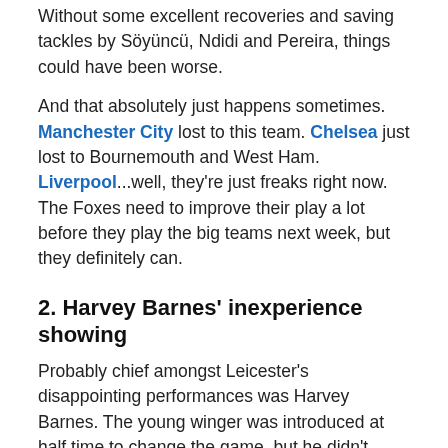Without some excellent recoveries and saving tackles by Söyüncü, Ndidi and Pereira, things could have been worse.
And that absolutely just happens sometimes. Manchester City lost to this team. Chelsea just lost to Bournemouth and West Ham. Liverpool...well, they're just freaks right now. The Foxes need to improve their play a lot before they play the big teams next week, but they definitely can.
2. Harvey Barnes' inexperience showing
Probably chief amongst Leicester's disappointing performances was Harvey Barnes. The young winger was introduced at half time to change the game, but he didn't seem to be on the same page as his teammates, and nothing seemed to work.